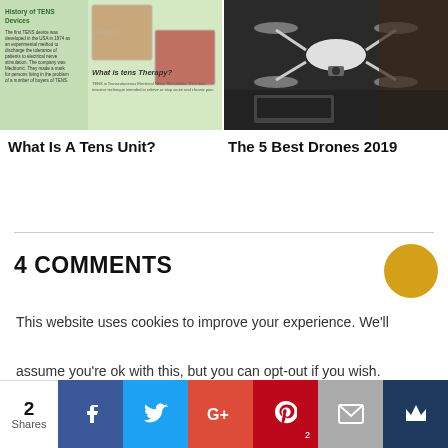[Figure (screenshot): Screenshot of a blog post thumbnail for 'What Is A Tens Unit?' showing a green info panel with 'History of TENS Devices' text, a photo of a shoulder and a woman with back pain, and italic text 'What is tens Therapy?']
[Figure (photo): Photo of a white drone being held by a person, used as thumbnail for 'The 5 Best Drones 2019']
What Is A Tens Unit?
The 5 Best Drones 2019
4 COMMENTS
This website uses cookies to improve your experience. We'll assume you're ok with this, but you can opt-out if you wish.
[Figure (infographic): Social share bar with 2 Shares count, and buttons for Facebook, Twitter, Google+, Pinterest (with badge 2), Email, and a crown icon button]